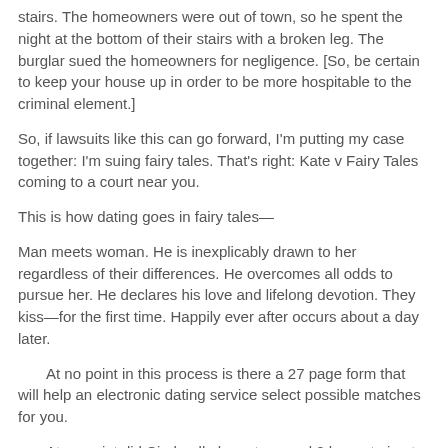stairs. The homeowners were out of town, so he spent the night at the bottom of their stairs with a broken leg. The burglar sued the homeowners for negligence. [So, be certain to keep your house up in order to be more hospitable to the criminal element.]
So, if lawsuits like this can go forward, I'm putting my case together: I'm suing fairy tales. That's right: Kate v Fairy Tales coming to a court near you.
This is how dating goes in fairy tales—
Man meets woman. He is inexplicably drawn to her regardless of their differences. He overcomes all odds to pursue her. He declares his love and lifelong devotion. They kiss—for the first time. Happily ever after occurs about a day later.
At no point in this process is there a 27 page form that will help an electronic dating service select possible matches for you.
At no point did Cinderella have to spend 2 hours trying to figure out (for said form) if she was more adventurous or more creative, while trying not to admit that all she really wanted to do most Saturday nights was watch TV.